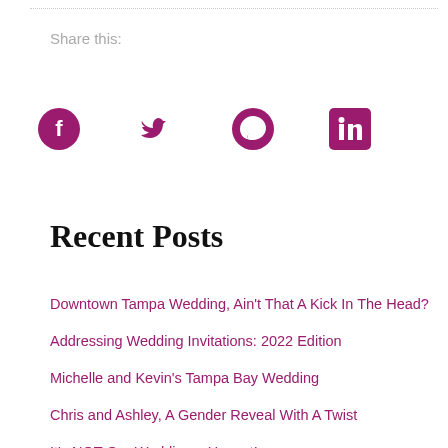Share this:
[Figure (infographic): Four social media share icons: Facebook, Twitter, Pinterest, LinkedIn, all in dark magenta/purple color]
Recent Posts
Downtown Tampa Wedding, Ain't That A Kick In The Head?
Addressing Wedding Invitations: 2022 Edition
Michelle and Kevin's Tampa Bay Wedding
Chris and Ashley, A Gender Reveal With A Twist
It's NOT Our Wedding – Honest!